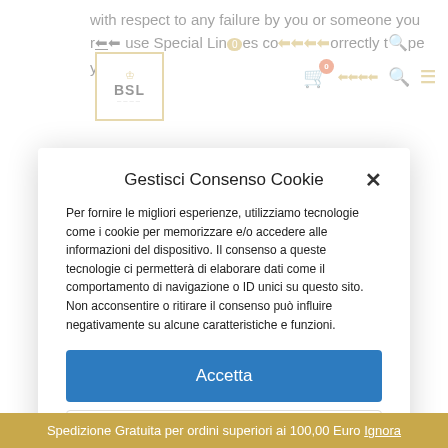with respect to any failure by you or someone you re[...] use Special Lines co[...] orrectly type your
[Figure (logo): BSL logo with crown icon, gold border, text BSL]
Gestisci Consenso Cookie
Per fornire le migliori esperienze, utilizziamo tecnologie come i cookie per memorizzare e/o accedere alle informazioni del dispositivo. Il consenso a queste tecnologie ci permetterà di elaborare dati come il comportamento di navigazione o ID unici su questo sito. Non acconsentire o ritirare il consenso può influire negativamente su alcune caratteristiche e funzioni.
Accetta
Nega
Visualizza preferenze
Spedizione Gratuita per ordini superiori ai 100,00 Euro Ignora